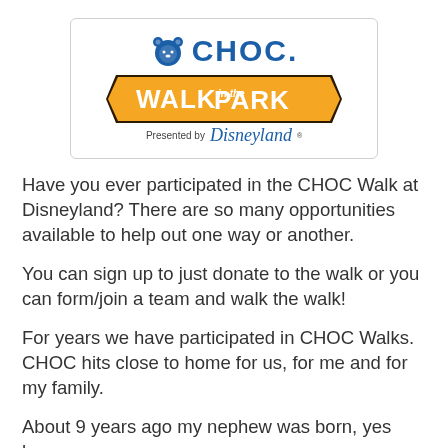[Figure (logo): CHOC Walk in the Park presented by Disneyland logo. Blue CHOC text with bear paw icon, orange trapezoid banner reading WALK in the PARK, and Disneyland script logo below.]
Have you ever participated in the CHOC Walk at Disneyland? There are so many opportunities available to help out one way or another.
You can sign up to just donate to the walk or you can form/join a team and walk the walk!
For years we have participated in CHOC Walks. CHOC hits close to home for us, for me and for my family.
About 9 years ago my nephew was born, yes born